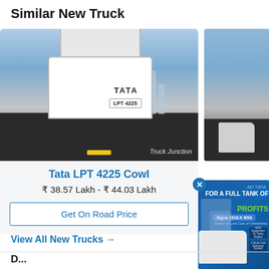Similar New Truck
[Figure (photo): Tata LPT 4225 truck front-facing on a road with city skyline in background. Watermark: Truck Junction]
Tata LPT 4225 Cowl
₹ 38.57 Lakh - ₹ 44.03 Lakh
Get On Road Price
[Figure (photo): Partial view of another Tata truck on road]
[Figure (advertisement): Advertisement for Tata Signa 1918.K BS6 truck - FOR A FULL TANK OF PROFITS]
View All New Trucks →